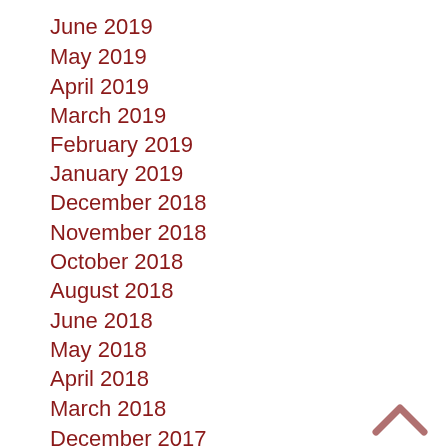June 2019
May 2019
April 2019
March 2019
February 2019
January 2019
December 2018
November 2018
October 2018
August 2018
June 2018
May 2018
April 2018
March 2018
December 2017